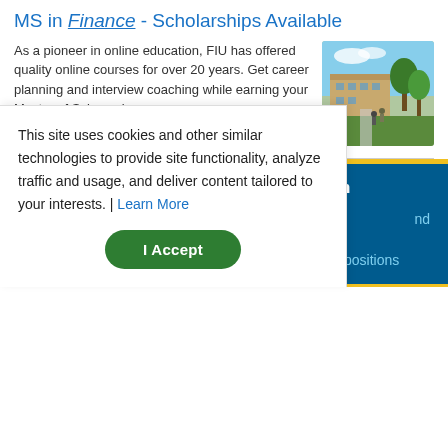MS in Finance - Scholarships Available
As a pioneer in online education, FIU has offered quality online courses for over 20 years. Get career planning and interview coaching while earning your Master of Science in...
[Figure (photo): Outdoor university building campus photo with trees and walkway]
Are you an HR manager or compensation specialist?
Salary.com's CompAnalyst platform offers:
Detailed skills and competency reports for specific positions
nd
This site uses cookies and other similar technologies to provide site functionality, analyze traffic and usage, and deliver content tailored to your interests. | Learn More
I Accept